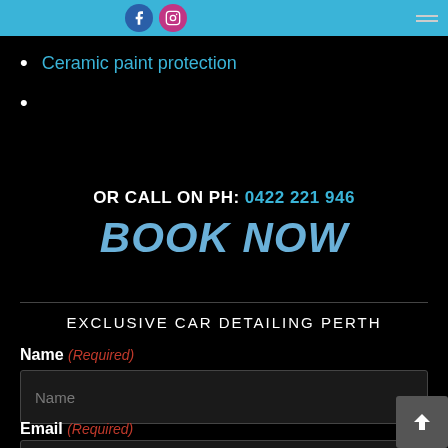Ceramic paint protection
OR CALL ON PH: 0422 221 946
BOOK NOW
EXCLUSIVE CAR DETAILING PERTH
Name (Required)
Email (Required)